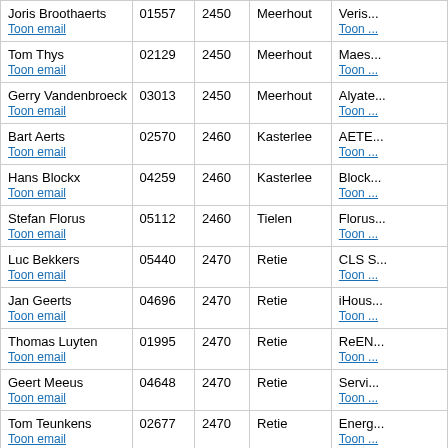| Name / Email | ID | Postal | City | Company / Email |
| --- | --- | --- | --- | --- |
| Joris Broothaerts
Toon email | 01557 | 2450 | Meerhout | Veris...
Toon ... |
| Tom Thys
Toon email | 02129 | 2450 | Meerhout | Maes...
Toon ... |
| Gerry Vandenbroeck
Toon email | 03013 | 2450 | Meerhout | Alyate...
Toon ... |
| Bart Aerts
Toon email | 02570 | 2460 | Kasterlee | AETE...
Toon ... |
| Hans Blockx
Toon email | 04259 | 2460 | Kasterlee | Block...
Toon ... |
| Stefan Florus
Toon email | 05112 | 2460 | Tielen | Florus...
Toon ... |
| Luc Bekkers
Toon email | 05440 | 2470 | Retie | CLS S...
Toon ... |
| Jan Geerts
Toon email | 04696 | 2470 | Retie | iHous...
Toon ... |
| Thomas Luyten
Toon email | 01995 | 2470 | Retie | ReEN...
Toon ... |
| Geert Meeus
Toon email | 04648 | 2470 | Retie | Servi...
Toon ... |
| Tom Teunkens
Toon email | 02677 | 2470 | Retie | Energ...
Toon ... |
| Bart Willemsen
Toon email | 04195 | 2470 | Retie | Willer...
Toon ... |
| thomas Bruyninckx
Toon email | 05211 | 2480 | Dessel | Brute...
Toon ... |
| Hans den Ouden |  |  |  | Ecofu... |